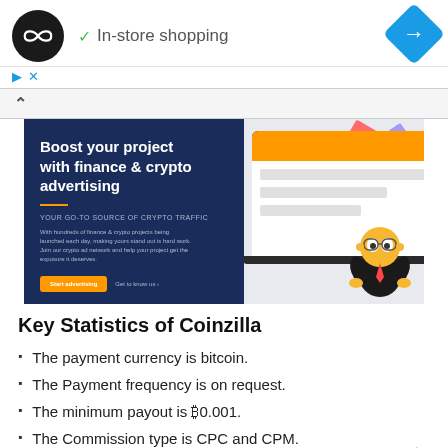[Figure (screenshot): Top navigation bar with a circular black logo with infinity-like symbol, 'In-store shopping' text with green checkmark, and a blue diamond navigation arrow on the right]
[Figure (screenshot): Coinzilla crypto advertising banner: dark navy left panel with 'Boost your project with finance & crypto advertising' headline, subtitle 'YOUR GO-TO SOURCE OF CRYPTO TRAFFIC', description text, orange 'Start advertising' button, and 'Get to know us' link. Right side shows laptop mockup with orange bar and white content lines, cartoon mascot character, and colorful confetti pieces flying.]
Key Statistics of Coinzilla
The payment currency is bitcoin.
The Payment frequency is on request.
The minimum payout is ₿0.001.
The Commission type is CPC and CPM.
There are no sign-up requirements.